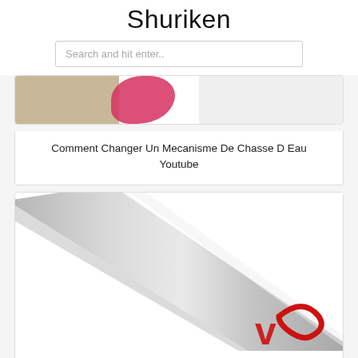Shuriken
Search and hit enter..
[Figure (photo): Partial image showing pink/red object with beige background, top of a card]
Comment Changer Un Mecanisme De Chasse D Eau Youtube
[Figure (photo): Image of a shuriken/metal blade on white background with a red logo in bottom right corner]
Ebay Sponsored Panneau Colonne Douche Hydromassage Acier